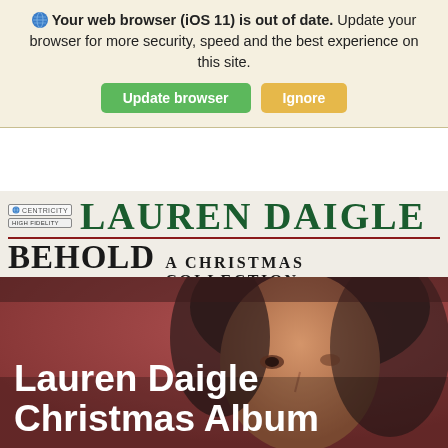Your web browser (iOS 11) is out of date. Update your browser for more security, speed and the best experience on this site.
Update browser | Ignore
[Figure (screenshot): Album cover header for Lauren Daigle 'Behold: A Christmas Collection' showing Centricity Music and High Fidelity logos, artist name in dark green serif font, album title in black serif font with red underline]
[Figure (photo): Photo of Lauren Daigle, a woman with dark hair, on a reddish-brown background. White bold text overlay reads 'Lauren Daigle Christmas Album']